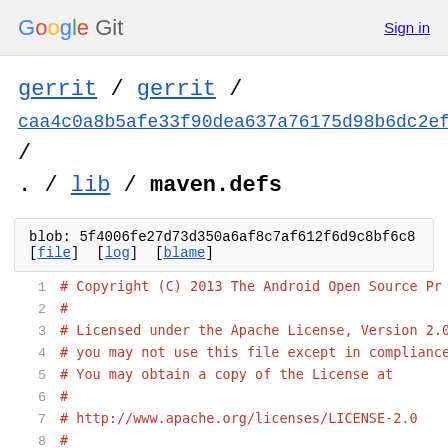Google Git  Sign in
gerrit / gerrit / caa4c0a8b5afe33f90dea637a76175d98b6dc2ef / . / lib / maven.defs
blob: 5f4006fe27d73d350a6af8c7af612f6d9c8bf6c8 [file] [log] [blame]
1  # Copyright (C) 2013 The Android Open Source Pr
2  #
3  # Licensed under the Apache License, Version 2.0
4  # you may not use this file except in compliance
5  # You may obtain a copy of the License at
6  #
7  # http://www.apache.org/licenses/LICENSE-2.0
8  #
9  # Unless required by applicable law or agreed to
10 # distributed under the License is distributed